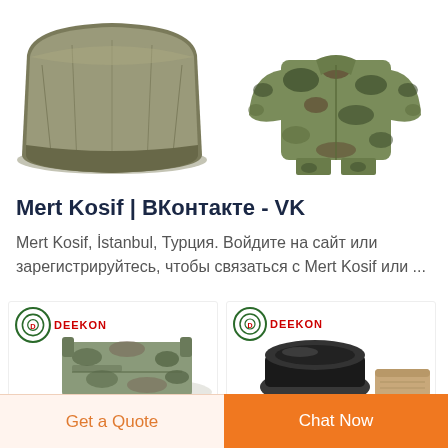[Figure (photo): Two product images side by side: left is an olive/khaki fleece blanket or fabric roll, right is a camouflage jacket/uniform set on white background]
Mert Kosif | ВКонтакте - VK
Mert Kosif, İstanbul, Турция. Войдите на сайт или зарегистрируйтесь, чтобы связаться с Mert Kosif или ...
[Figure (photo): Two DEEKON branded product cards: left shows a camouflage tactical bag, right shows a black roll and tan/beige item]
Get a Quote
Chat Now